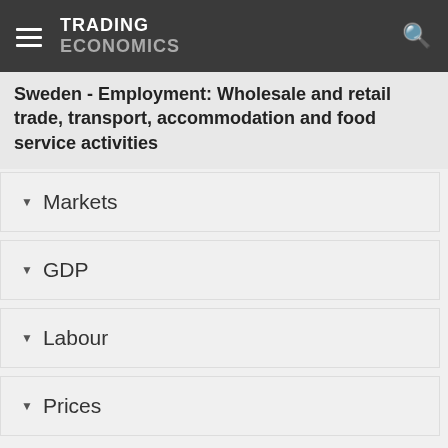TRADING ECONOMICS
Sweden - Employment: Wholesale and retail trade, transport, accommodation and food service activities
Markets
GDP
Labour
Prices
Health
Money
Trade